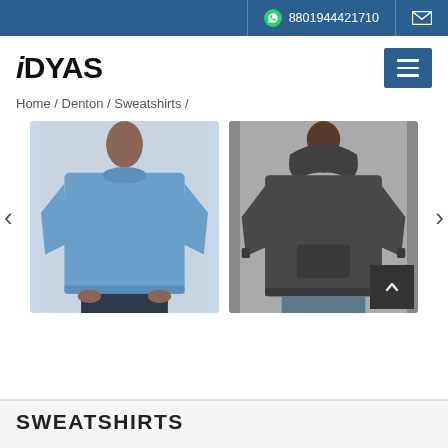8801944421710
iDYAS
Home / Denton / Sweatshirts /
[Figure (photo): Man wearing a heather blue crew-neck sweatshirt]
[Figure (photo): Man wearing a dark charcoal grey hooded sweatshirt]
SWEATSHIRTS